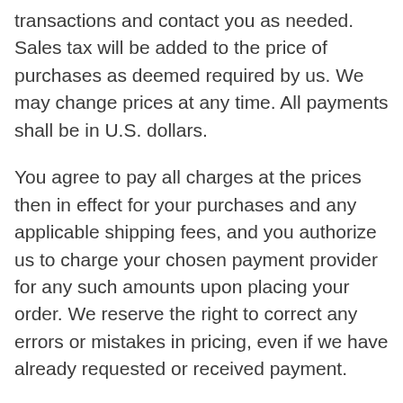transactions and contact you as needed. Sales tax will be added to the price of purchases as deemed required by us. We may change prices at any time. All payments shall be in U.S. dollars.
You agree to pay all charges at the prices then in effect for your purchases and any applicable shipping fees, and you authorize us to charge your chosen payment provider for any such amounts upon placing your order. We reserve the right to correct any errors or mistakes in pricing, even if we have already requested or received payment.
We reserve the right to refuse any order placed through the Site. We may, in our sole discretion, limit or cancel quantities purchased per person, per household, or per order. These restrictions may include orders placed by or under the same customer account, the same payment